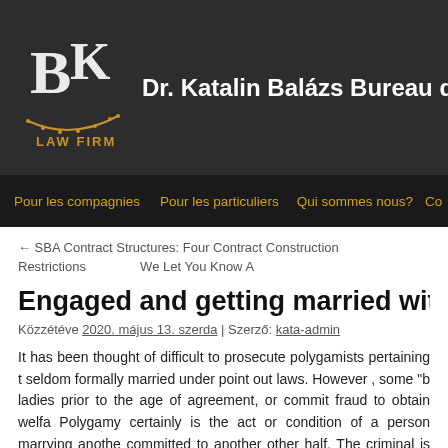[Figure (logo): BK Law Firm logo with stylized B and K letters in white/gold on dark background, with 'LAW FIRM' text in gold and decorative arc]
Dr. Katalin Balázs Bureau d'av
Pour les compagnies  Pour les particuliers  Qui sommes nous?  Co
← SBA Contract Structures: Four Contract Construction Restrictions    We Let You Know A
Engaged and getting married within Asia
Közzétéve 2020. május 13. szerda | Szerző: kata-admin
It has been thought of difficult to prosecute polygamists pertaining t seldom formally married under point out laws. However , some "b ladies prior to the age of agreement, or commit fraud to obtain welfa Polygamy certainly is the act or condition of a person marrying anothe committed to another other half. The criminal is punishable by a fine, the law of the individual express and the circumstances of the crime.